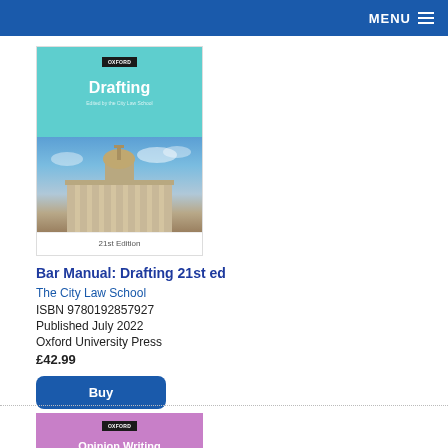MENU
[Figure (photo): Book cover for Bar Manual: Drafting 21st ed, showing teal top with Drafting title and photo of classical stone building with dome against blue sky, with '21st Edition' text at bottom]
Bar Manual: Drafting 21st ed
The City Law School
ISBN 9780192857927
Published July 2022
Oxford University Press
£42.99
Buy
[Figure (photo): Book cover for Opinion Writing & Case Preparation, pink/purple cover with white title text]